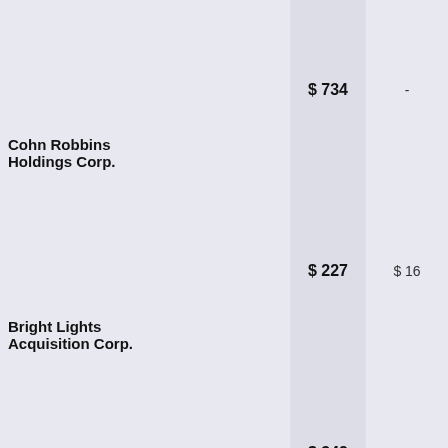| Cohn Robbins Holdings Corp. | $ 734 | - | $ -2 |
| Bright Lights Acquisition Corp. | $ 227 | $ 16 | $ 17 |
| Scion Tech Growth Ii | $ 342 | - | $ 14 |
| Scion Tech Growth I | $ 572 | $ 5 | $ 21 |
| Golden Arrow Merger Corp. | $ 282 | $ 0 | $ 8 |